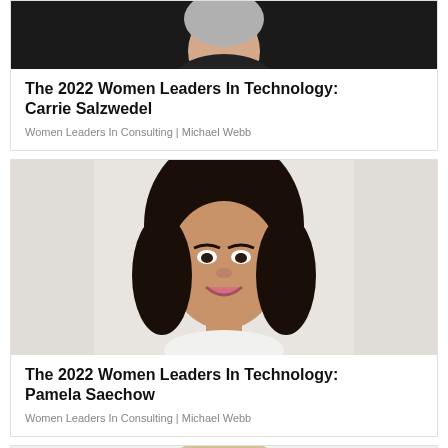[Figure (photo): Headshot of Carrie Salzwedel, partial crop showing face and shoulders on dark background]
The 2022 Women Leaders In Technology: Carrie Salzwedel
Women Leaders In Consulting | Michael Webb
[Figure (photo): Headshot of Pamela Saechow, woman with dark hair smiling, light background]
The 2022 Women Leaders In Technology: Pamela Saechow
Women Leaders In Consulting | Michael Webb
[Figure (photo): Partial headshot of a woman with glasses and light hair, cropped at bottom]